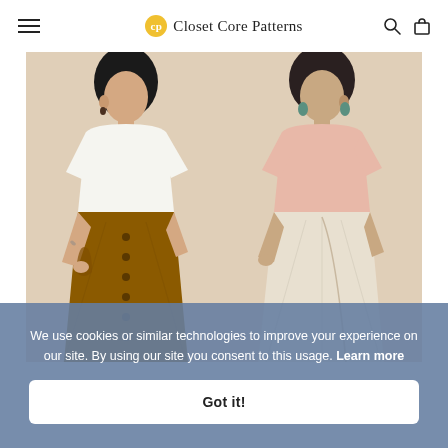Closet Core Patterns
[Figure (photo): Two women modeling sewing patterns. Left model wears a white boxy top and a brown button-front A-line midi skirt. Right model wears a pink boxy top and a white/cream wrap midi skirt. Background is a warm beige/tan.]
We use cookies or similar technologies to improve your experience on our site. By using our site you consent to this usage. Learn more
Got it!